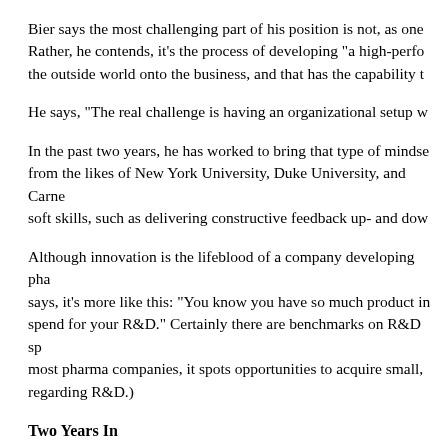Bier says the most challenging part of his position is not, as one Rather, he contends, it's the process of developing "a high-perfo the outside world onto the business, and that has the capability t
He says, "The real challenge is having an organizational setup w
In the past two years, he has worked to bring that type of mindse from the likes of New York University, Duke University, and Carne soft skills, such as delivering constructive feedback up- and dow
Although innovation is the lifeblood of a company developing pha says, it's more like this: "You know you have so much product in spend for your R&D." Certainly there are benchmarks on R&D sp most pharma companies, it spots opportunities to acquire small, regarding R&D.)
Two Years In
Bier brought his family — his wife, Gudrun, to whom he has beer years ago, from Cologne, Germany. "It's great to see how well th